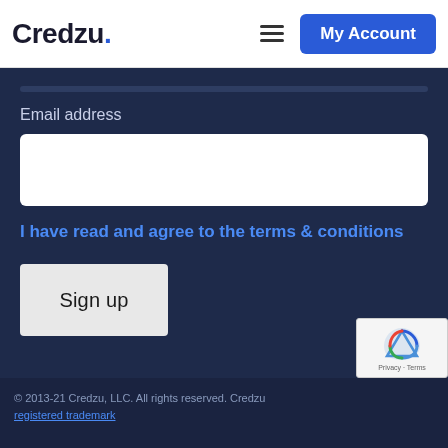Credzu. [hamburger menu] [My Account button]
Email address
I have read and agree to the terms & conditions
Sign up
[Figure (logo): reCAPTCHA badge with Privacy and Terms links]
© 2013-21 Credzu, LLC. All rights reserved. Credzu registered trademark